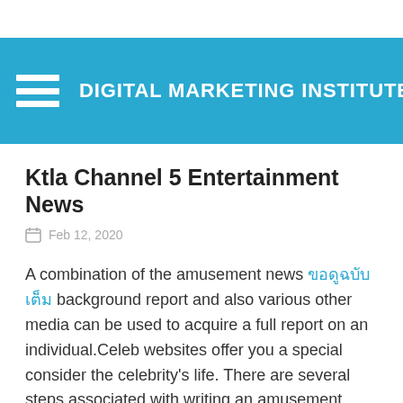DIGITAL MARKETING INSTITUTE
Ktla Channel 5 Entertainment News
Feb 12, 2020
A combination of the amusement news ขอดูฉบับเต็ม background report and also various other media can be used to acquire a full report on an individual.Celeb websites offer you a special consider the celebrity's life. There are several steps associated with writing an amusement